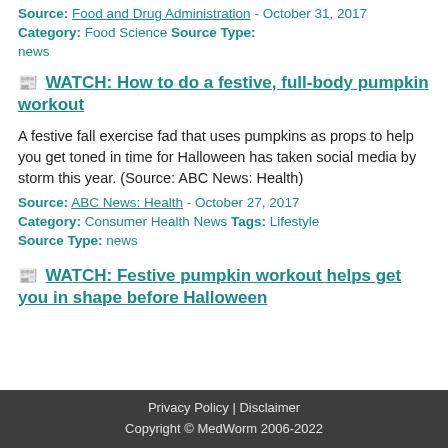Source: Food and Drug Administration - October 31, 2017 Category: Food Science Source Type: news
WATCH: How to do a festive, full-body pumpkin workout
A festive fall exercise fad that uses pumpkins as props to help you get toned in time for Halloween has taken social media by storm this year. (Source: ABC News: Health)
Source: ABC News: Health - October 27, 2017 Category: Consumer Health News Tags: Lifestyle Source Type: news
WATCH: Festive pumpkin workout helps get you in shape before Halloween
Privacy Policy | Disclaimer
Copyright © MedWorm 2006-2022